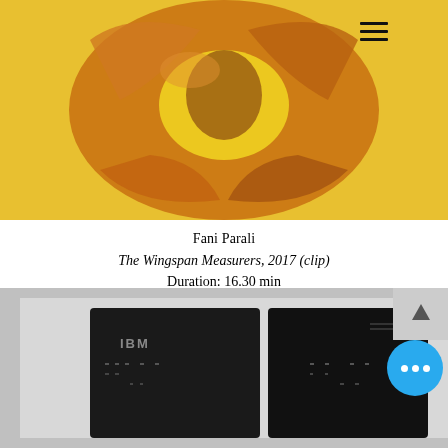[Figure (photo): Abstract amber/orange sculpture or glass form on yellow background, showing figurative shapes curled inward]
Fani Parali
The Wingspan Measurers, 2017 (clip)
Duration: 16.30 min
With Maxi More and johnsmith
and the voices of Amina Abbas-Nazari and David Cooper
[Figure (photo): Black IBM mainframe computer hardware against grey background, with chat/back-to-top UI overlays]